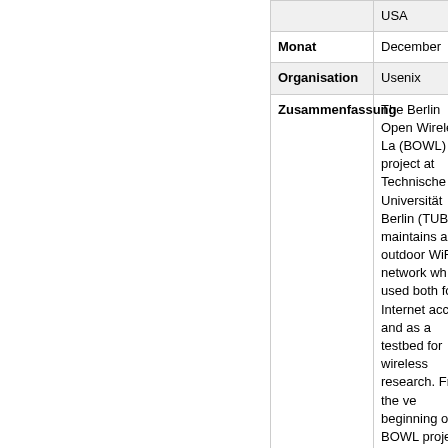| Field | Value |
| --- | --- |
|  | USA |
| Monat | December |
| Organisation | Usenix |
| Zusammenfassung | The Berlin Open Wireless La (BOWL) project at Technische Universität Berlin (TUB maintains a outdoor WiF network wh is used both for Internet access and as a testbed for wireless research. From the ve beginning o the BOWL project, we experienced several development and operations challenges t keep Internet users and researchers happy. Developm |